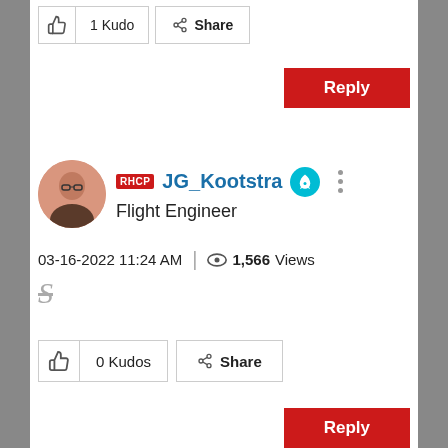[Figure (screenshot): Thumbs up icon with '1 Kudo' button and 'Share' button at the top]
[Figure (screenshot): Red Reply button]
[Figure (screenshot): User profile: avatar photo, RHCP badge, username JG_Kootstra with rocket badge, role Flight Engineer, dots menu]
03-16-2022 11:24 AM | 1,566 Views
[Figure (other): Strikethrough S formatting icon]
[Figure (screenshot): Thumbs up icon with '0 Kudos' button and 'Share' button at the bottom]
[Figure (screenshot): Red Reply button at bottom]